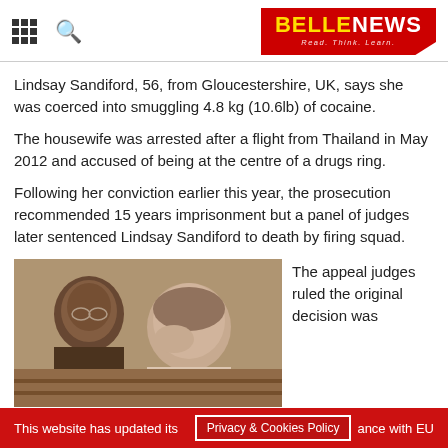BELLE NEWS - Read. Think. Learn.
Lindsay Sandiford, 56, from Gloucestershire, UK, says she was coerced into smuggling 4.8 kg (10.6lb) of cocaine.
The housewife was arrested after a flight from Thailand in May 2012 and accused of being at the centre of a drugs ring.
Following her conviction earlier this year, the prosecution recommended 15 years imprisonment but a panel of judges later sentenced Lindsay Sandiford to death by firing squad.
[Figure (photo): Two people seated, one appearing distressed, in what looks like a courtroom or public hall setting.]
The appeal judges ruled the original decision was
This website has updated its Privacy & Cookies Policy ance with EU